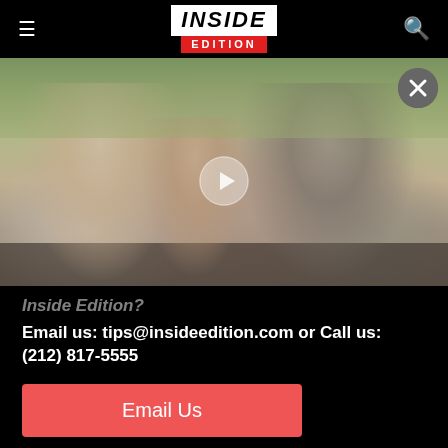INSIDE EDITION
[Figure (photo): Family photo showing a woman in a striped dress, a young girl in a floral top, and a man in a gray shirt and cap, seated on a couch with pillows. A video play button is overlaid in the center. A close (X) button is in the top-right corner.]
Inside Edition?
Email us: tips@insideedition.com or Call us: (212) 817-5555
Email Us